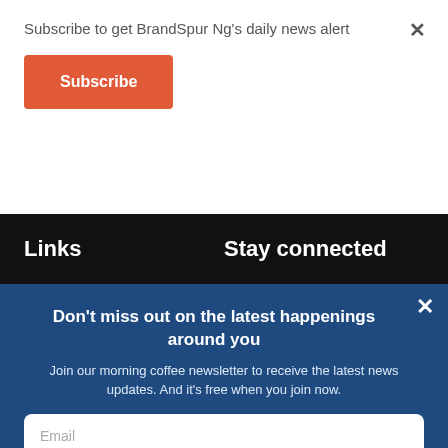Subscribe to get BrandSpur Ng's daily news alert
Subscribe
Links
Stay connected
Don't miss out on the latest happenings around you
Join our morning coffee newsletter to receive the latest news updates. And it's free when you join now.
Email
Name
JOIN NOW